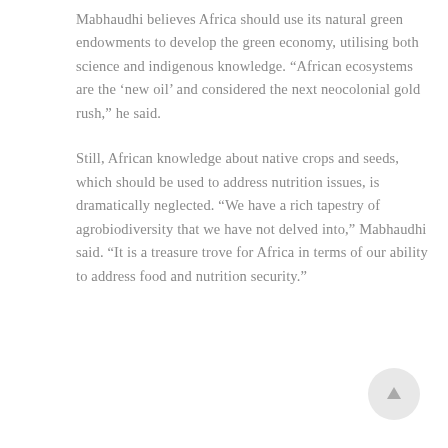Mabhaudhi believes Africa should use its natural green endowments to develop the green economy, utilising both science and indigenous knowledge. “African ecosystems are the ‘new oil’ and considered the next neocolonial gold rush,” he said.
Still, African knowledge about native crops and seeds, which should be used to address nutrition issues, is dramatically neglected. “We have a rich tapestry of agrobiodiversity that we have not delved into,” Mabhaudhi said. “It is a treasure trove for Africa in terms of our ability to address food and nutrition security.”